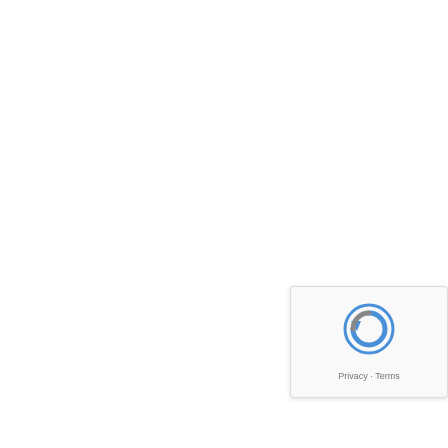interested in marrying me at that po... girlfriend so much that i could not le... really love her and never can imagin... across a powerful real spell caster D... love spell to get back with my girlfrie... mm, it was a good night time at 11:p... that my girlfriend will be back, at firs... door i heard someone saying honey... i saw my girlfriend standing and we... because its all i have been praying ... weeks after she noticed her system... and i took her to clinic for check up ... her which means she was pregnant... thanks Dr Osasu so much and the l... you have any problem getting your ... exactly like this you ha... drosasu25@gmail.com... +2347064365391 13. juu... 2018
[Figure (other): reCAPTCHA badge with circular arrow icon, text 'Privacy - Terms']